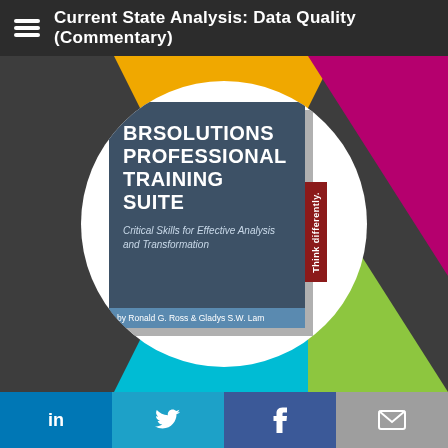Current State Analysis: Data Quality (Commentary)
[Figure (illustration): Book cover for BRSolutions Professional Training Suite by Ronald G. Ross & Gladys S.W. Lam, surrounded by colored geometric triangles (yellow, magenta, cyan, green) on a dark background, inside a white circle. Book subtitle: Critical Skills for Effective Analysis and Transformation. Red tab reads 'Think differently.']
LinkedIn | Twitter | Facebook | Email